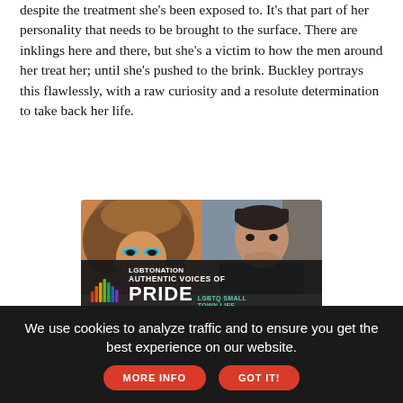despite the treatment she's been exposed to. It's that part of her personality that needs to be brought to the surface. There are inklings here and there, but she's a victim to how the men around her treat her; until she's pushed to the brink. Buckley portrays this flawlessly, with a raw curiosity and a resolute determination to take back her life.
[Figure (photo): LGBTQ Nation advertisement showing two people side by side — a person in drag with large hair and blue eyeshadow on the left, and a young man in a dark polo shirt on the right. Below the photos is a dark overlay with 'LGBTO NATION AUTHENTIC VOICES OF PRIDE LGBTQ SMALL TOWN LIFE' text, a CHEVROLET logo, colorful audio-bar graphic, and a 'Learn More' teal button.]
We use cookies to analyze traffic and to ensure you get the best experience on our website.
MORE INFO
GOT IT!